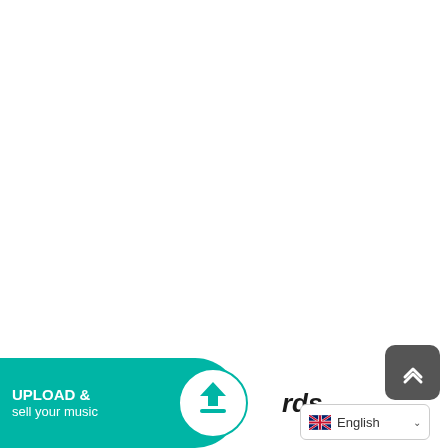[Figure (logo): Teal curved banner with upload icon and text: UPLOAD & sell your music, with partial brand name 'rds' visible]
[Figure (screenshot): English language selector dropdown with UK flag]
[Figure (other): Dark grey rounded square scroll-to-top button with upward chevron arrow]